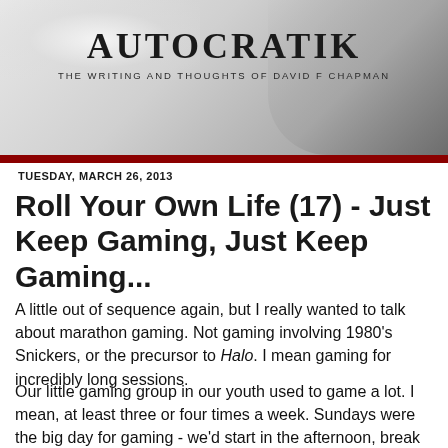[Figure (illustration): Blog header banner with site name AUTOCRATIK and tagline 'THE WRITING AND THOUGHTS OF DAVID F CHAPMAN' over a grunge/monochrome background with a face silhouette on the right]
AUTOCRATIK
THE WRITING AND THOUGHTS OF DAVID F CHAPMAN
TUESDAY, MARCH 26, 2013
Roll Your Own Life (17) - Just Keep Gaming, Just Keep Gaming...
A little out of sequence again, but I really wanted to talk about marathon gaming. Not gaming involving 1980's Snickers, or the precursor to Halo. I mean gaming for incredibly long sessions.
Our little gaming group in our youth used to game a lot. I mean, at least three or four times a week. Sundays were the big day for gaming - we'd start in the afternoon, break for the traditional Sunday roast at our own homes, then reconvene for a follow up session in the evening (finishing in good time